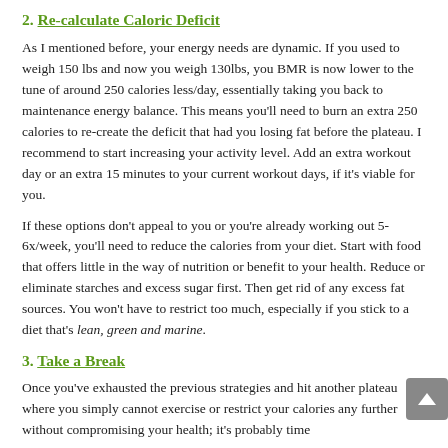2. Re-calculate Caloric Deficit
As I mentioned before, your energy needs are dynamic. If you used to weigh 150 lbs and now you weigh 130lbs, you BMR is now lower to the tune of around 250 calories less/day, essentially taking you back to maintenance energy balance. This means you'll need to burn an extra 250 calories to re-create the deficit that had you losing fat before the plateau. I recommend to start increasing your activity level. Add an extra workout day or an extra 15 minutes to your current workout days, if it's viable for you.
If these options don't appeal to you or you're already working out 5-6x/week, you'll need to reduce the calories from your diet. Start with food that offers little in the way of nutrition or benefit to your health. Reduce or eliminate starches and excess sugar first. Then get rid of any excess fat sources. You won't have to restrict too much, especially if you stick to a diet that's lean, green and marine.
3. Take a Break
Once you've exhausted the previous strategies and hit another plateau where you simply cannot exercise or restrict your calories any further without compromising your health; it's probably time